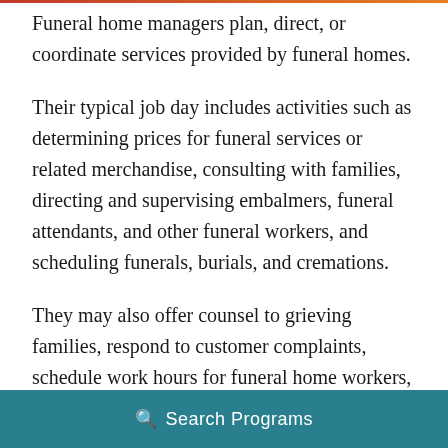Funeral home managers plan, direct, or coordinate services provided by funeral homes.
Their typical job day includes activities such as determining prices for funeral services or related merchandise, consulting with families, directing and supervising embalmers, funeral attendants, and other funeral workers, and scheduling funerals, burials, and cremations.
They may also offer counsel to grieving families, respond to customer complaints, schedule work hours for funeral home workers, evaluating workers' performance, and
Search Programs